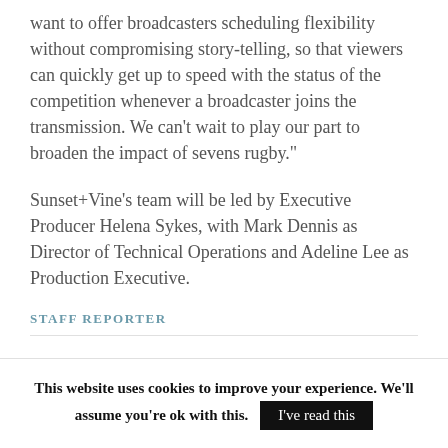want to offer broadcasters scheduling flexibility without compromising story-telling, so that viewers can quickly get up to speed with the status of the competition whenever a broadcaster joins the transmission. We can’t wait to play our part to broaden the impact of sevens rugby.”
Sunset+Vine’s team will be led by Executive Producer Helena Sykes, with Mark Dennis as Director of Technical Operations and Adeline Lee as Production Executive.
STAFF REPORTER
This website uses cookies to improve your experience. We’ll assume you’re ok with this.
I've read this